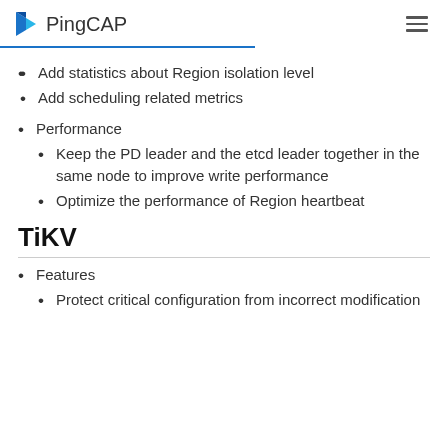PingCAP
Add statistics about Region isolation level
Add scheduling related metrics
Performance
Keep the PD leader and the etcd leader together in the same node to improve write performance
Optimize the performance of Region heartbeat
TiKV
Features
Protect critical configuration from incorrect modification